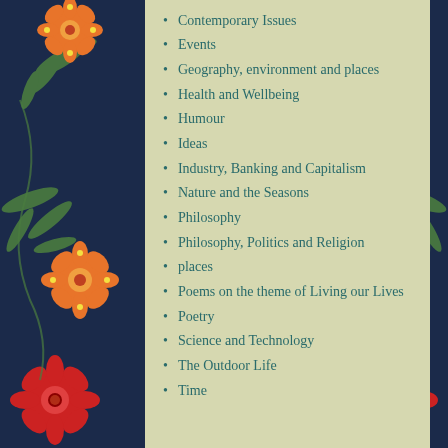Contemporary Issues
Events
Geography, environment and places
Health and Wellbeing
Humour
Ideas
Industry, Banking and Capitalism
Nature and the Seasons
Philosophy
Philosophy, Politics and Religion
places
Poems on the theme of Living our Lives
Poetry
Science and Technology
The Outdoor Life
Time
Uncategorized
[Figure (illustration): Dark navy blue floral decorative background with orange, red, and green flowers and leaves on left and right sides of the page.]